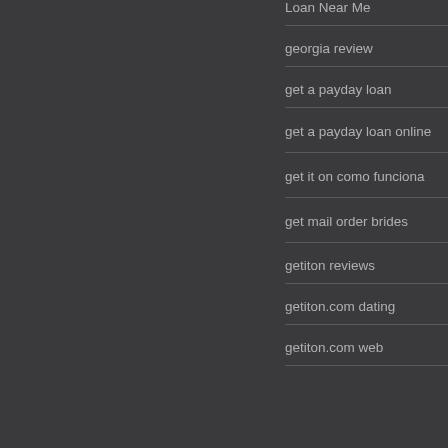Loan Near Me
georgia review
get a payday loan
get a payday loan online
get it on como funciona
get mail order brides
getiton reviews
getiton.com dating
getiton.com web